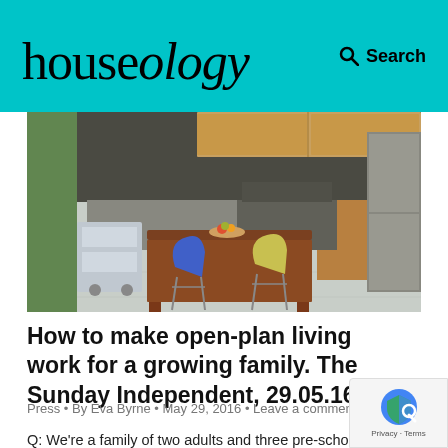houseology — Search
[Figure (photo): Modern open-plan kitchen with dark cabinetry, stainless steel appliances, a wooden dining table, and colorful chairs (blue and yellow Arne Jacobsen style chairs). A fruit bowl sits on the table. Large windows with greenery visible on the left.]
How to make open-plan living work for a growing family. The Sunday Independent, 29.05.16
Press • By Eva Byrne • May 29, 2016 • Leave a comment
Q: We're a family of two adults and three pre-school